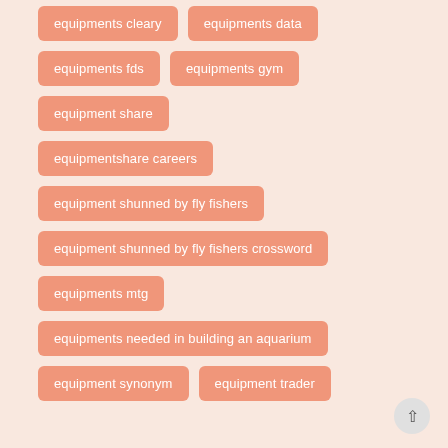equipments cleary
equipments data
equipments fds
equipments gym
equipment share
equipmentshare careers
equipment shunned by fly fishers
equipment shunned by fly fishers crossword
equipments mtg
equipments needed in building an aquarium
equipment synonym
equipment trader